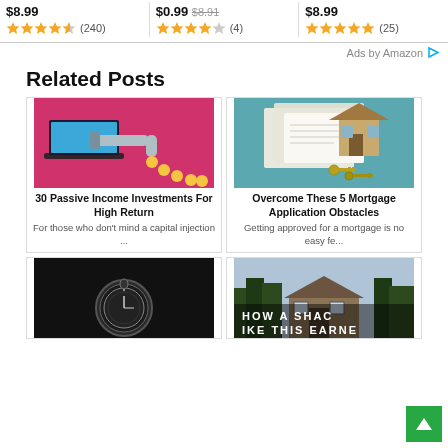$8.99 ★★★★½ (240) | $0.99 ~~$8.91~~ ★★★★☆ (4) | $8.99 ★★★★★ (25)
Ads by Amazon
Related Posts
[Figure (illustration): Illustration of a laptop with a pipe dripping gold coins on a pink background - passive income concept]
30 Passive Income Investments For High Return
For those who don't mind a capital injection ...
[Figure (photo): Photo of a wooden model house with keys and documents on a teal/blue background - mortgage concept]
Overcome These 5 Mortgage Application Obstacles
Getting approved for a mortgage is no easy fe...
[Figure (photo): Photo of an antique pocket watch on a dark background]
[Figure (photo): Photo of a shack/house with text overlay reading 'HOW A SHACK IKE THIS EARNE']